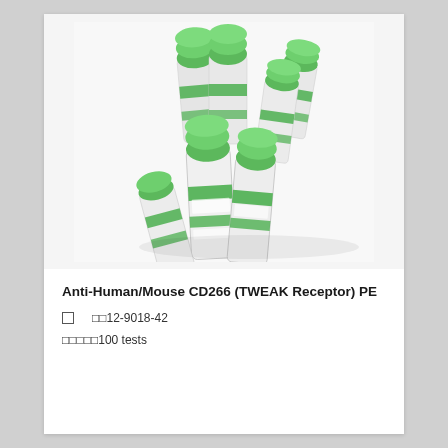[Figure (photo): Multiple small white laboratory vials/tubes with bright green caps, arranged in a group on a white surface. The vials have white and green banded labels.]
Anti-Human/Mouse CD266 (TWEAK Receptor) PE
□        □□12-9018-42
□□□□□100 tests